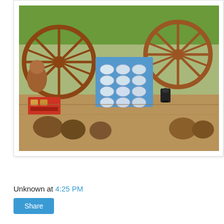[Figure (photo): Outdoor market stall or display with wooden wagon wheels (reddish-brown), various carved wooden crafts, a blue tray with transparent oval items arranged in a grid, a small black figurine/camera, assorted brown round items (possibly coconut shells or carvings), a red crate with small items, and green foliage/trees in the background.]
Unknown at 4:25 PM